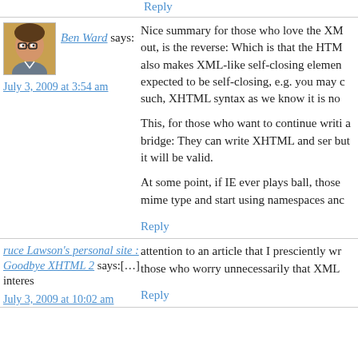Reply
[Figure (photo): Small avatar photo of Ben Ward]
Ben Ward says:
July 3, 2009 at 3:54 am
Nice summary for those who love the XML out, is the reverse: Which is that the HTML also makes XML-like self-closing elements expected to be self-closing, e.g. you may c such, XHTML syntax as we know it is no
This, for those who want to continue writi a bridge: They can write XHTML and ser but it will be valid.
At some point, if IE ever plays ball, those mime type and start using namespaces and
Reply
ruce Lawson's personal site : Goodbye XHTML 2 says:[…] interes
July 3, 2009 at 10:02 am
attention to an article that I presciently wr those who worry unnecessarily that XML
Reply